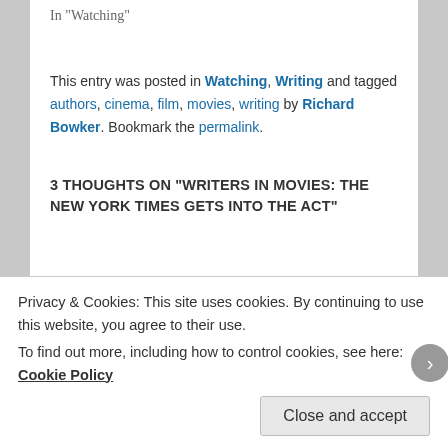In "Watching"
This entry was posted in Watching, Writing and tagged authors, cinema, film, movies, writing by Richard Bowker. Bookmark the permalink.
3 THOUGHTS ON "WRITERS IN MOVIES: THE NEW YORK TIMES GETS INTO THE ACT"
[Figure (illustration): Blue and white geometric quilt-pattern avatar/icon for commenter]
Stan Bowker on May 11, 2014 at 5:26 pm said:
Privacy & Cookies: This site uses cookies. By continuing to use this website, you agree to their use.
To find out more, including how to control cookies, see here: Cookie Policy
Close and accept